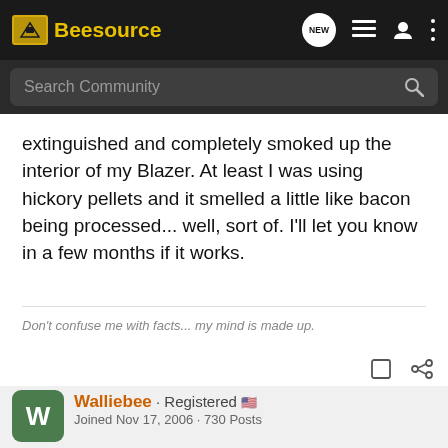Beesource
extinguished and completely smoked up the interior of my Blazer. At least I was using hickory pellets and it smelled a little like bacon being processed... well, sort of. I'll let you know in a few months if it works.
Don't confuse me with facts... my mind is made up.
Walliebee · Registered
Joined Nov 17, 2006 · 730 Posts
[Figure (screenshot): Chevrolet Silverado HD advertisement: FLEX YOUR WORK MUSCLES. Available Multi-Flex Tailgate. Silverado HD]
#4 · Mar